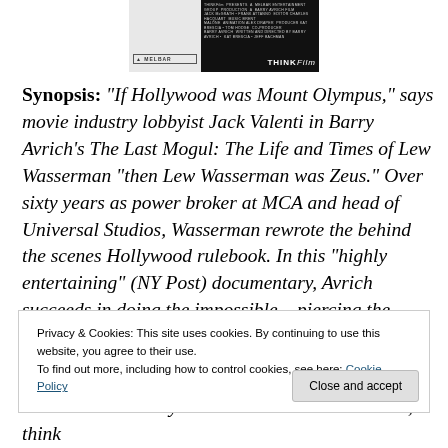[Figure (other): Movie poster/banner for a documentary film, split between light left side with Melbar logo and dark right side with THINKFilm logo and small production credits text.]
Synopsis: “If Hollywood was Mount Olympus,” says movie industry lobbyist Jack Valenti in Barry Avrich’s The Last Mogul: The Life and Times of Lew Wasserman “then Lew Wasserman was Zeus.” Over sixty years as power broker at MCA and head of Universal Studios, Wasserman rewrote the behind the scenes Hollywood rulebook. In this “highly entertaining” (NY Post) documentary, Avrich succeeds in doing the impossible – piercing the shroud of
Privacy & Cookies: This site uses cookies. By continuing to use this website, you agree to their use.
To find out more, including how to control cookies, see here: Cookie Policy
ruthlessness and style all his own.” Dress British, think